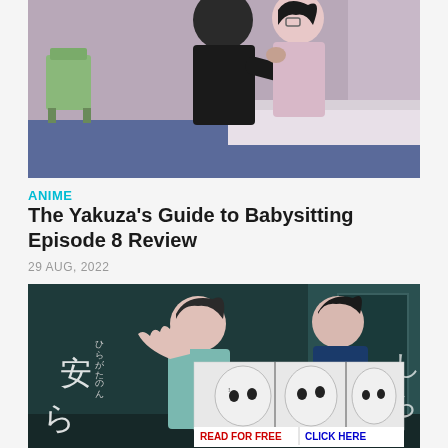[Figure (illustration): Anime scene showing two characters embracing - one in dark suit hugging another in light pink shirt, indoor setting with chair and blue floor visible]
ANIME
The Yakuza's Guide to Babysitting Episode 8 Review
29 AUG, 2022
[Figure (illustration): Anime/manga illustration showing two female characters in a dark indoor setting with Japanese text. An ad overlay shows manga panels with 'Close' button and 'READ FOR FREE' and 'CLICK HERE' text in red and blue.]